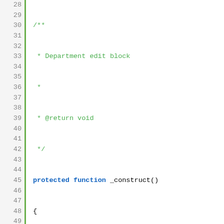[Figure (screenshot): Code editor screenshot showing PHP code lines 28-53. A JSDoc comment block describes 'Department edit block' with @return void. A protected function _construct() is defined with $this->_objectId, $this->_blockGroup, $this->_controller assignments, parent::_construct() call, and an if statement checking $this->_isAllowedAction() with buttonList->update and buttonList->add calls including 'saveandcontinue' with 'label', 'class', 'data_attribute' array keys.]